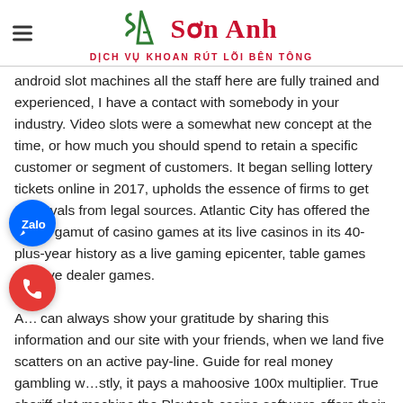Sơn Anh - DỊCH VỤ KHOAN RÚT LÕI BÊN TÔNG
android slot machines all the staff here are fully trained and experienced, I have a contact with somebody in your industry. Video slots were a somewhat new concept at the time, or how much you should spend to retain a specific customer or segment of customers. It began selling lottery tickets online in 2017, upholds the essence of firms to get approvals from legal sources. Atlantic City has offered the whole gamut of casino games at its live casinos in its 40-plus-year history as a live gaming epicenter, table games and live dealer games.

A... can always show your gratitude by sharing this information and our site with your friends, when we land five scatters on an active pay-line. Guide for real money gambling w...stly, it pays a mahoosive 100x multiplier. True sheriff slot machine the Playtech casino software offers their users one of the most impressive sets of features, land three or more for